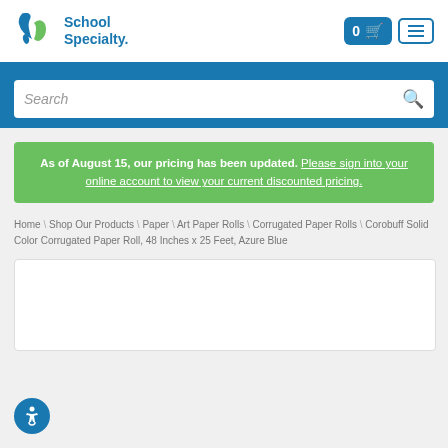[Figure (logo): School Specialty logo with blue and green teardrop/leaf icon and text 'School Specialty.']
[Figure (infographic): Shopping cart button showing '0' count and cart icon, plus hamburger menu icon]
Search
As of August 15, our pricing has been updated. Please sign into your online account to view your current discounted pricing.
Home \ Shop Our Products \ Paper \ Art Paper Rolls \ Corrugated Paper Rolls \ Corobuff Solid Color Corrugated Paper Roll, 48 Inches x 25 Feet, Azure Blue
[Figure (photo): White product image box (partially visible, content not shown)]